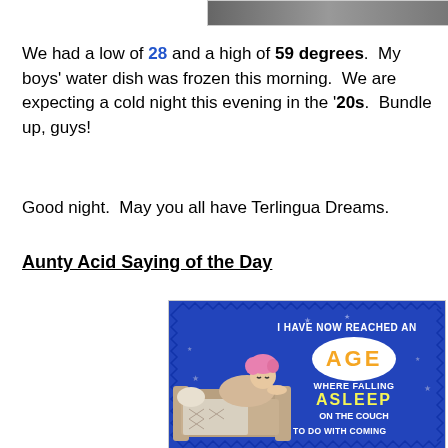[Figure (photo): Partial top image, cropped photo at top of page]
We had a low of 28 and a high of 59 degrees. My boys' water dish was frozen this morning. We are expecting a cold night this evening in the '20s. Bundle up, guys!
Good night. May you all have Terlingua Dreams.
Aunty Acid Saying of the Day
[Figure (illustration): Aunty Acid cartoon: Blue background with zigzag border, cartoon woman lying on couch with pink hair. Text reads: I HAVE NOW REACHED AN AGE WHERE FALLING ASLEEP ON THE COUCH HAS NOTHING TO DO WITH COMING]